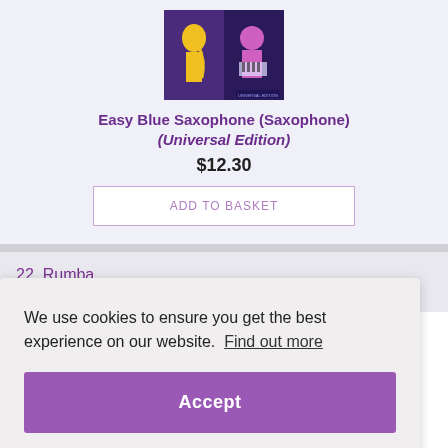[Figure (photo): Album cover image for Easy Blue Saxophone showing jazz musicians in pop art style with yellow, purple and blue colors]
Easy Blue Saxophone (Saxophone) (Universal Edition)
$12.30
ADD TO BASKET
22. Rumba
RAF
We use cookies to ensure you get the best experience on our website.  Find out more
Accept